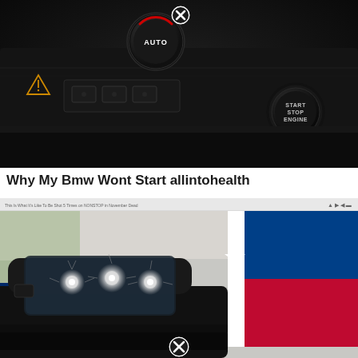[Figure (photo): Close-up dark photo of a BMW car interior dashboard with an AUTO rotary knob, hazard warning triangle button, and a START STOP ENGINE push button. A circular close/X badge appears above the AUTO knob.]
Why My Bmw Wont Start allintohealth
[Figure (screenshot): Screenshot of a video or webpage showing a black SUV with multiple bullet holes in the windshield, parked in front of an American flag and a Texas state flag. A toolbar with text and icons appears at the top. A circular close/X badge appears at the bottom center.]